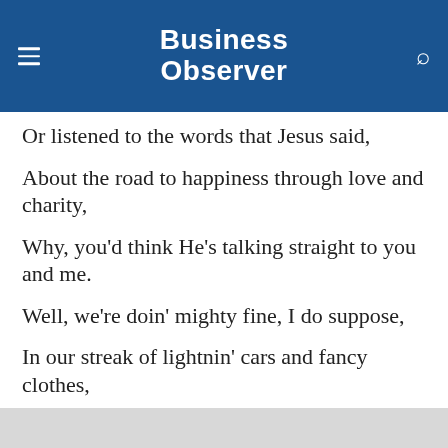Business Observer
Or listened to the words that Jesus said,
About the road to happiness through love and charity,
Why, you'd think He's talking straight to you and me.
Well, we're doin' mighty fine, I do suppose,
In our streak of lightnin' cars and fancy clothes,
But just so we're reminded of the ones who are held